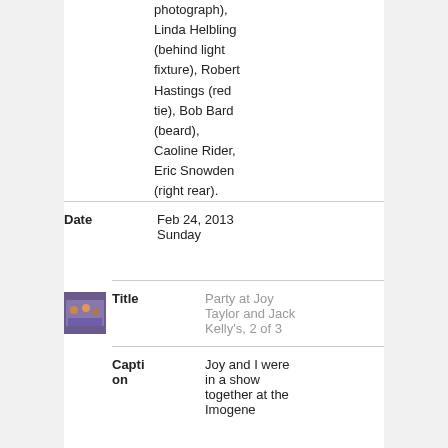photograph), Linda Helbling (behind light fixture), Robert Hastings (red tie), Bob Bard (beard), Caoline Rider, Eric Snowden (right rear).
| Field | Value |
| --- | --- |
| Date | Feb 24, 2013 Sunday |
| Title | Party at Joy Taylor and Jack Kelly's, 2 of 3 |
| Caption | Joy and I were in a show together at the Imogene |